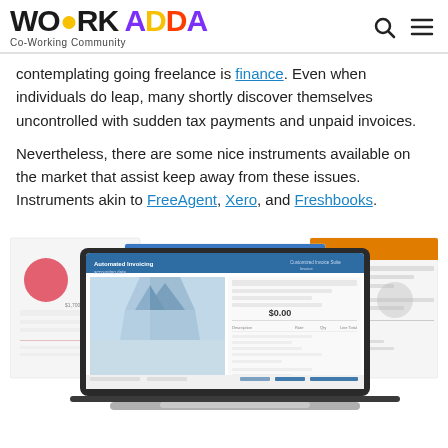WORK ADDA Co-Working Community
contemplating going freelance is finance. Even when individuals do leap, many shortly discover themselves uncontrolled with sudden tax payments and unpaid invoices.
Nevertheless, there are some nice instruments available on the market that assist keep away from these issues. Instruments akin to FreeAgent, Xero, and Freshbooks.
[Figure (screenshot): Screenshot of financial software interfaces including FreeAgent, Xero, and Freshbooks shown on a laptop screen with multiple dashboard and invoice views]